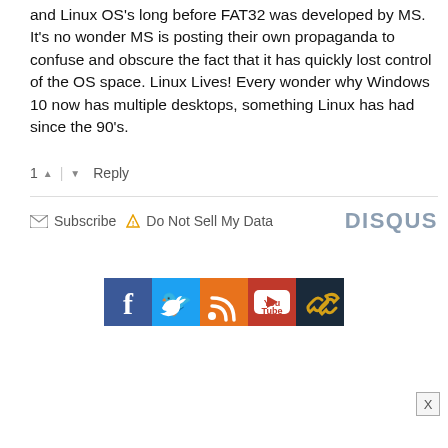and Linux OS's long before FAT32 was developed by MS. It's no wonder MS is posting their own propaganda to confuse and obscure the fact that it has quickly lost control of the OS space. Linux Lives! Every wonder why Windows 10 now has multiple desktops, something Linux has had since the 90's.
1 ▲ | ▼  Reply
[Figure (infographic): Social media icons bar: Facebook (blue), Twitter (light blue), RSS feed (orange), YouTube (red/white), Link/chain icon (dark blue with gold chain)]
[Figure (other): Close button X in bottom right corner]